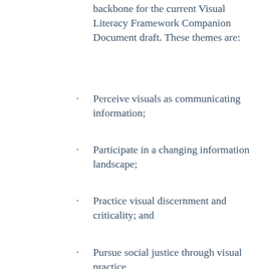backbone for the current Visual Literacy Framework Companion Document draft. These themes are:
Perceive visuals as communicating information;
Participate in a changing information landscape;
Practice visual discernment and criticality; and
Pursue social justice through visual practice.
Current Task Force Members
Millicent Fullmer (co-chair), University of San Diego